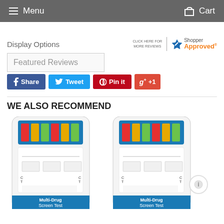Menu   Cart
Display Options
[Figure (logo): Shopper Approved badge with star logo and orange text]
Featured Reviews
Share
Tweet
Pin it
+1
WE ALSO RECOMMEND
[Figure (photo): Multi-Drug Screen Test card product image - left]
[Figure (photo): Multi-Drug Screen Test card product image - right]